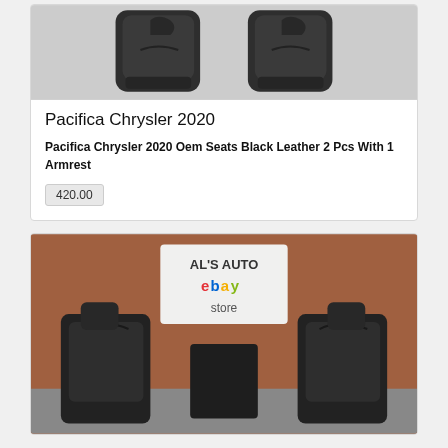[Figure (photo): Photo of two dark gray/black car seat backs (OEM leather seat cushions) against a light background, viewed from above/front angle]
Pacifica Chrysler 2020
Pacifica Chrysler 2020 Oem Seats Black Leather 2 Pcs With 1 Armrest
420.00
[Figure (photo): Photo of multiple black leather car seats (front and rear) displayed in a parking area, with an 'AL'S AUTO ebay store' sign visible in the background]